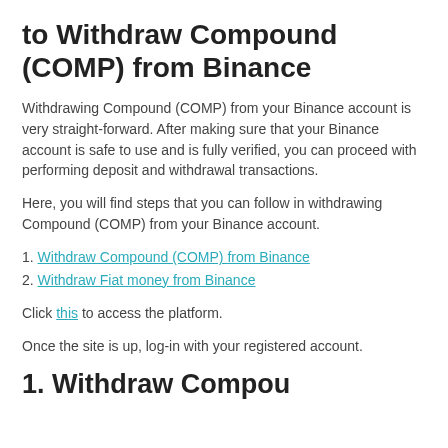to Withdraw Compound (COMP) from Binance
Withdrawing Compound (COMP) from your Binance account is very straight-forward. After making sure that your Binance account is safe to use and is fully verified, you can proceed with performing deposit and withdrawal transactions.
Here, you will find steps that you can follow in withdrawing Compound (COMP) from your Binance account.
1. Withdraw Compound (COMP) from Binance
2. Withdraw Fiat money from Binance
Click this to access the platform.
Once the site is up, log-in with your registered account.
1. Withdraw Compound (COMP)